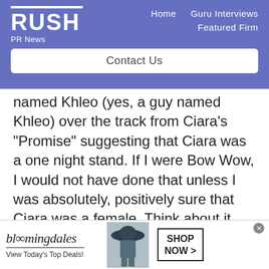RUSH PR News | Home | Guru Interviews | Featured Firm
Contact Us
named Khleo (yes, a guy named Khleo) over the track from Ciara’s “Promise” suggesting that Ciara was a one night stand. If I were Bow Wow, I would not have done that unless I was absolutely, positively sure that Ciara was a female. Think about it. You lie and say you sexed someone…
[Figure (screenshot): Bloomingdale's advertisement banner with model wearing a wide-brim hat, text 'View Today’s Top Deals!' and 'SHOP NOW >' button]